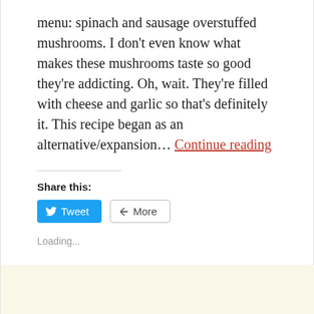menu: spinach and sausage overstuffed mushrooms. I don't even know what makes these mushrooms taste so good they're addicting. Oh, wait. They're filled with cheese and garlic so that's definitely it. This recipe began as an alternative/expansion… Continue reading
Share this:
Tweet   More
Loading...
3 Comments